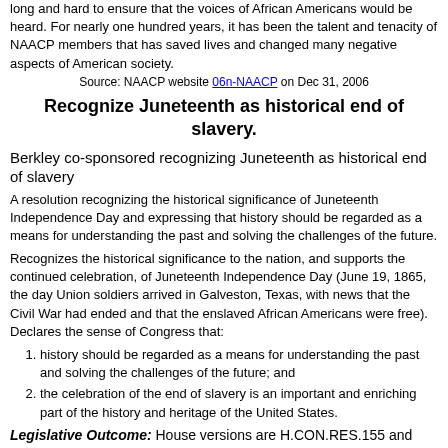long and hard to ensure that the voices of African Americans would be heard. For nearly one hundred years, it has been the talent and tenacity of NAACP members that has saved lives and changed many negative aspects of American society.
Source: NAACP website 06n-NAACP on Dec 31, 2006
Recognize Juneteenth as historical end of slavery.
Berkley co-sponsored recognizing Juneteenth as historical end of slavery
A resolution recognizing the historical significance of Juneteenth Independence Day and expressing that history should be regarded as a means for understanding the past and solving the challenges of the future.
Recognizes the historical significance to the nation, and supports the continued celebration, of Juneteenth Independence Day (June 19, 1865, the day Union soldiers arrived in Galveston, Texas, with news that the Civil War had ended and that the enslaved African Americans were free). Declares the sense of Congress that:
history should be regarded as a means for understanding the past and solving the challenges of the future; and
the celebration of the end of slavery is an important and enriching part of the history and heritage of the United States.
Legislative Outcome: House versions are H.CON.RES.155 and H.RES.1237; related Senate resolution S.RES.584 counts for sponsorship. Resolution agreed to in Senate, by Unanimous Consent.
Source: S.RES.584 08-SR584 on Jun 4, 2008